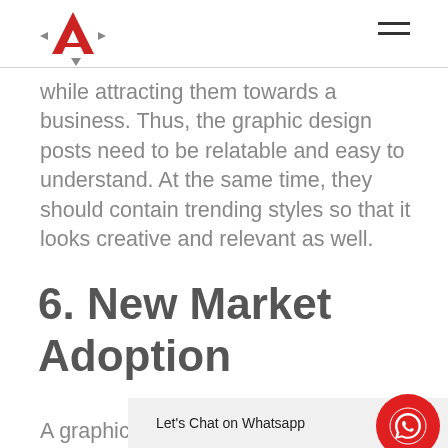[Logo: Arctechno / Navigation header with hamburger menu]
while attracting them towards a business. Thus, the graphic design posts need to be relatable and easy to understand. At the same time, they should contain trending styles so that it looks creative and relevant as well.
6. New Market Adoption
A graphic designer has the